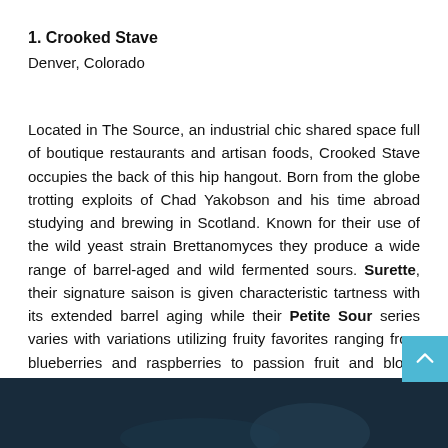1. Crooked Stave
Denver, Colorado
Located in The Source, an industrial chic shared space full of boutique restaurants and artisan foods, Crooked Stave occupies the back of this hip hangout. Born from the globe trotting exploits of Chad Yakobson and his time abroad studying and brewing in Scotland. Known for their use of the wild yeast strain Brettanomyces they produce a wide range of barrel-aged and wild fermented sours. Surette, their signature saison is given characteristic tartness with its extended barrel aging while their Petite Sour series varies with variations utilizing fruity favorites ranging from blueberries and raspberries to passion fruit and blood orange.
[Figure (photo): Dark teal/navy colored background photo at the bottom of the page, appears to be a bar or brewery interior scene]